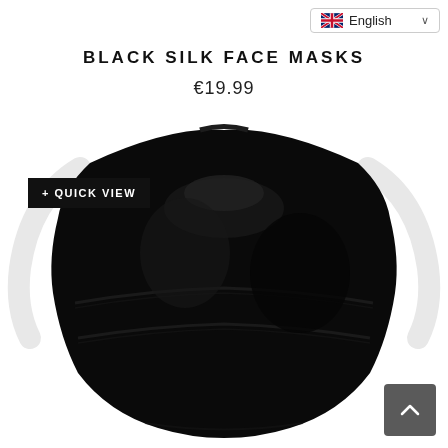English
BLACK SILK FACE MASKS
€19.99
[Figure (photo): A black silk face mask with ear loops, shown from the front against a white background. The mask has a shiny, silky texture with visible folds and three horizontal pleats.]
+ QUICK VIEW